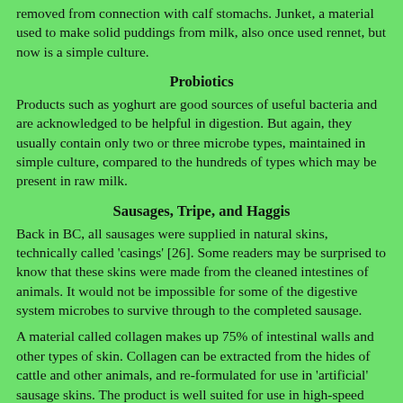removed from connection with calf stomachs. Junket, a material used to make solid puddings from milk, also once used rennet, but now is a simple culture.
Probiotics
Products such as yoghurt are good sources of useful bacteria and are acknowledged to be helpful in digestion. But again, they usually contain only two or three microbe types, maintained in simple culture, compared to the hundreds of types which may be present in raw milk.
Sausages, Tripe, and Haggis
Back in BC, all sausages were supplied in natural skins, technically called 'casings' [26]. Some readers may be surprised to know that these skins were made from the cleaned intestines of animals. It would not be impossible for some of the digestive system microbes to survive through to the completed sausage.
A material called collagen makes up 75% of intestinal walls and other types of skin. Collagen can be extracted from the hides of cattle and other animals, and re-formulated for use in 'artificial' sausage skins. The product is well suited for use in high-speed sausage-making machines, which produce the bulk of sausages sold in supermarkets.